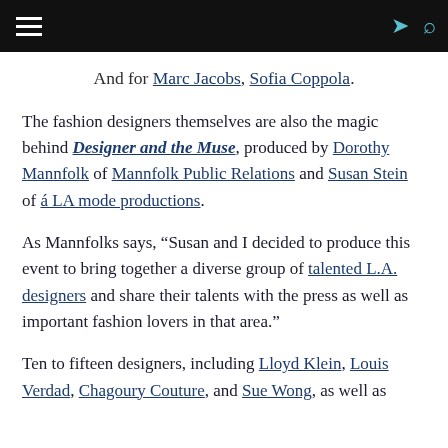[navigation header with hamburger menu, share icon, search icon]
And for Marc Jacobs, Sofia Coppola.
The fashion designers themselves are also the magic behind Designer and the Muse, produced by Dorothy Mannfolk of Mannfolk Public Relations and Susan Stein of á LA mode productions.
As Mannfolks says, “Susan and I decided to produce this event to bring together a diverse group of talented L.A. designers and share their talents with the press as well as important fashion lovers in that area.”
Ten to fifteen designers, including Lloyd Klein, Louis Verdad, Chagoury Couture, and Sue Wong, as well as